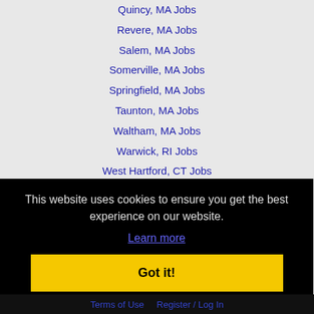Quincy, MA Jobs
Revere, MA Jobs
Salem, MA Jobs
Somerville, MA Jobs
Springfield, MA Jobs
Taunton, MA Jobs
Waltham, MA Jobs
Warwick, RI Jobs
West Hartford, CT Jobs
Westfield, MA Jobs
This website uses cookies to ensure you get the best experience on our website.
Learn more
Got it!
Terms of Use   Register / Log In